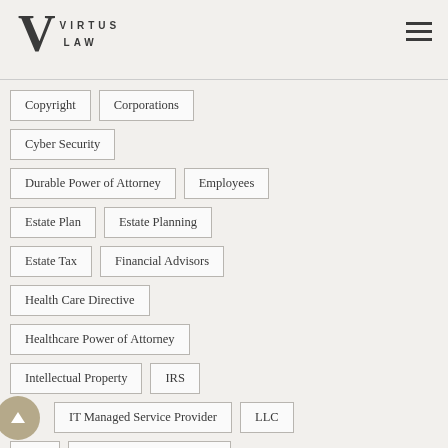VIRTUS LAW
Copyright
Corporations
Cyber Security
Durable Power of Attorney
Employees
Estate Plan
Estate Planning
Estate Tax
Financial Advisors
Health Care Directive
Healthcare Power of Attorney
Intellectual Property
IRS
IT Managed Service Provider
LLC
MA
Managed Service Provider
Master Service Agreement